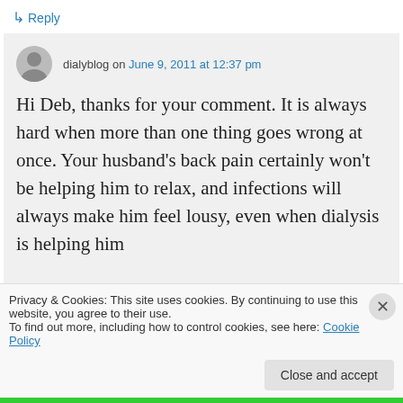↳ Reply
dialyblog on June 9, 2011 at 12:37 pm
Hi Deb, thanks for your comment. It is always hard when more than one thing goes wrong at once. Your husband's back pain certainly won't be helping him to relax, and infections will always make him feel lousy, even when dialysis is helping him
Privacy & Cookies: This site uses cookies. By continuing to use this website, you agree to their use.
To find out more, including how to control cookies, see here: Cookie Policy
Close and accept